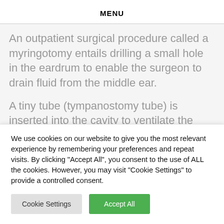MENU
An outpatient surgical procedure called a myringotomy entails drilling a small hole in the eardrum to enable the surgeon to drain fluid from the middle ear.
A tiny tube (tympanostomy tube) is inserted into the cavity to ventilate the middle ear and avoid fluid buildup.
We use cookies on our website to give you the most relevant experience by remembering your preferences and repeat visits. By clicking "Accept All", you consent to the use of ALL the cookies. However, you may visit "Cookie Settings" to provide a controlled consent.